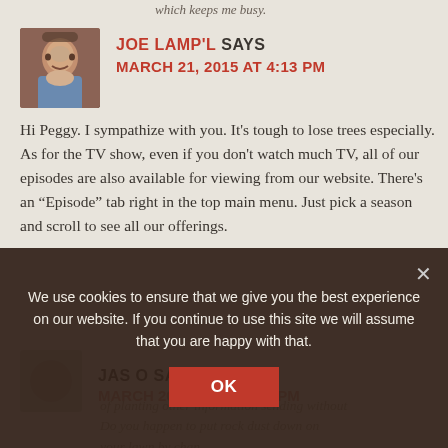which keeps me busy.
JOE LAMP'L SAYS
MARCH 21, 2015 AT 4:13 PM
Hi Peggy. I sympathize with you. It's tough to lose trees especially.
As for the TV show, even if you don't watch much TV, all of our episodes are also available for viewing from our website. There's an “Episode” tab right in the top main menu. Just pick a season and scroll to see all our offerings.
JAS O SAYS
MARCH 20, 2015 AT 6:32 PM
We use cookies to ensure that we give you the best experience on our website. If you continue to use this site we will assume that you are happy with that.
OK